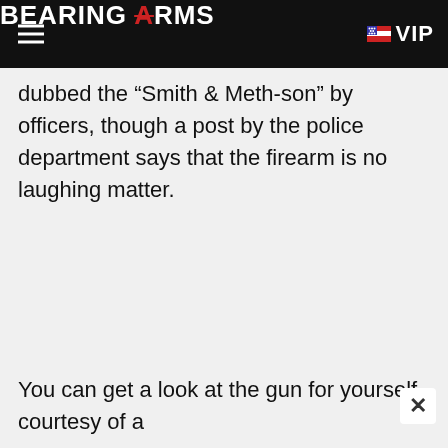BEARING ARMS | VIP
dubbed the “Smith & Meth-son” by officers, though a post by the police department says that the firearm is no laughing matter.
You can get a look at the gun for yourself courtesy of a